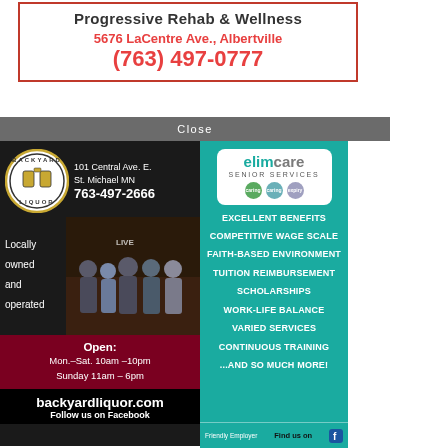[Figure (infographic): Progressive Rehab & Wellness ad with address 5676 LaCentre Ave., Albertville and phone (763) 497-0777]
[Figure (infographic): Backyard Liquor ad: 101 Central Ave. E., St. Michael MN, 763-497-2666, Locally owned and operated, Open Mon.-Sat. 10am-10pm Sunday 11am-6pm, backyardliquor.com, Follow us on Facebook]
[Figure (infographic): Elim Care Senior Services ad: Excellent Benefits, Competitive Wage Scale, Faith-Based Environment, Tuition Reimbursement, Scholarships, Work-Life Balance, Varied Services, Continuous Training, ...and so much more! Equal Opportunity Friendly Employer, Find us on Facebook]